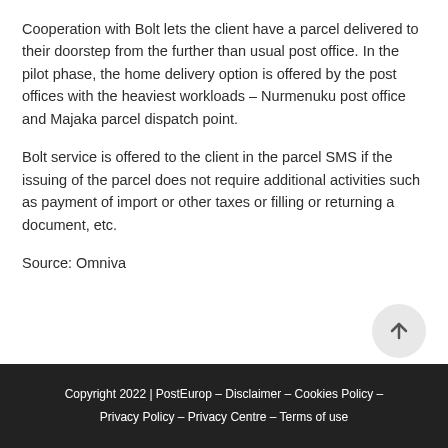Cooperation with Bolt lets the client have a parcel delivered to their doorstep from the further than usual post office. In the pilot phase, the home delivery option is offered by the post offices with the heaviest workloads – Nurmenuku post office and Majaka parcel dispatch point.
Bolt service is offered to the client in the parcel SMS if the issuing of the parcel does not require additional activities such as payment of import or other taxes or filling or returning a document, etc.
Source: Omniva
Copyright 2022 | PostEurop – Disclaimer – Cookies Policy – Privacy Policy – Privacy Centre – Terms of use